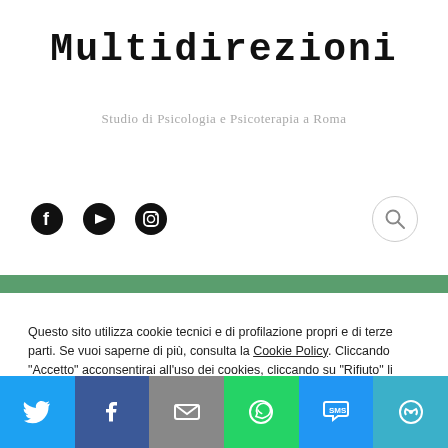Multidirezioni
Studio di Psicologia e Psicoterapia a Roma
[Figure (other): Social media icons: Facebook, YouTube, Instagram, and a search button]
Questo sito utilizza cookie tecnici e di profilazione propri e di terze parti. Se vuoi saperne di più, consulta la Cookie Policy. Cliccando "Accetto" acconsentirai all'uso dei cookies, cliccando su "Rifiuto" li rifiuterai.
[Figure (other): Share bar with Twitter, Facebook, Email, WhatsApp, SMS, and More buttons]